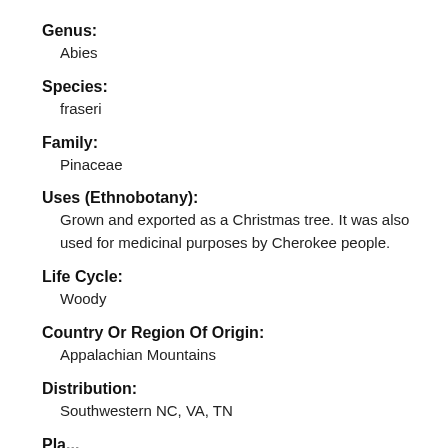Genus: Abies
Species: fraseri
Family: Pinaceae
Uses (Ethnobotany): Grown and exported as a Christmas tree. It was also used for medicinal purposes by Cherokee people.
Life Cycle: Woody
Country Or Region Of Origin: Appalachian Mountains
Distribution: Southwestern NC, VA, TN